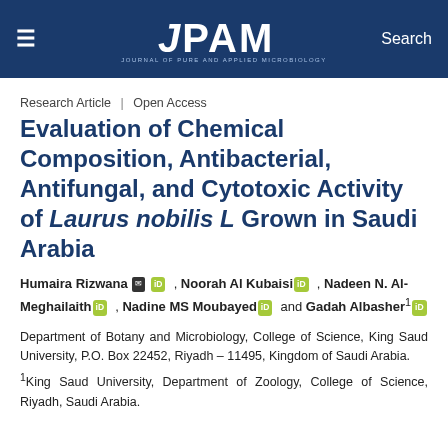JPAM Journal of Pure and Applied Microbiology
Research Article | Open Access
Evaluation of Chemical Composition, Antibacterial, Antifungal, and Cytotoxic Activity of Laurus nobilis L Grown in Saudi Arabia
Humaira Rizwana, Noorah Al Kubaisi, Nadeen N. Al-Meghailaith, Nadine MS Moubayed and Gadah Albasher¹
Department of Botany and Microbiology, College of Science, King Saud University, P.O. Box 22452, Riyadh – 11495, Kingdom of Saudi Arabia.
¹King Saud University, Department of Zoology, College of Science, Riyadh, Saudi Arabia.